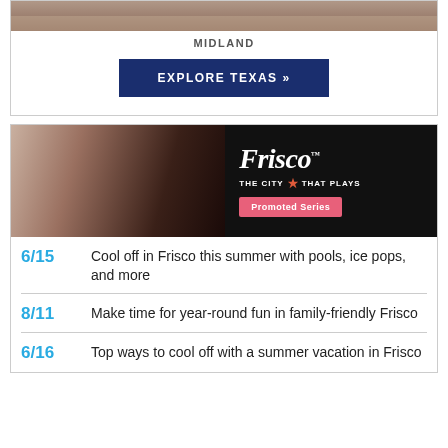[Figure (photo): Aerial/crowd photo of Midland stadium or event]
MIDLAND
[Figure (other): EXPLORE TEXAS button in dark navy blue]
[Figure (photo): Frisco promotional banner with two women in a shop and Frisco 'The City That Plays' branding with Promoted Series badge]
6/15 Cool off in Frisco this summer with pools, ice pops, and more
8/11 Make time for year-round fun in family-friendly Frisco
6/16 Top ways to cool off with a summer vacation in Frisco